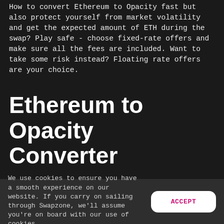How to convert Ethereum to Opacity fast but also protect yourself from market volatility and get the expected amount of ETH during the swap? Play safe - choose fixed-rate offers and make sure all the fees are included. Want to take some risk instead? Floating rate offers are your choice.
Ethereum to Opacity Converter
We use cookies to ensure you have a smooth experience on our website. If you carry on sailing through Swapzone, we'll assume you're on board with our use of cookies.